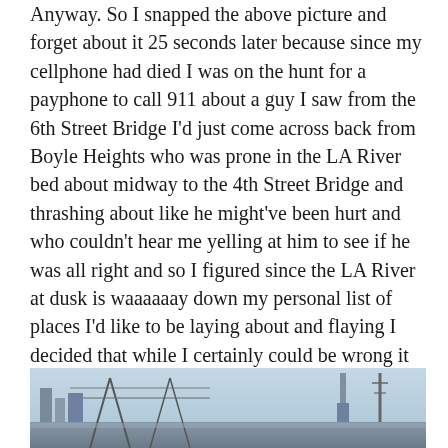Anyway. So I snapped the above picture and forget about it 25 seconds later because since my cellphone had died I was on the hunt for a payphone to call 911 about a guy I saw from the 6th Street Bridge I'd just come across back from Boyle Heights who was prone in the LA River bed about midway to the 4th Street Bridge and thrashing about like he might've been hurt and who couldn't hear me yelling at him to see if he was all right and so I figured since the LA River at dusk is waaaaaay down my personal list of places I'd like to be laying about and flaying I decided that while I certainly could be wrong it might not be anywhere near that dude's first choice either so I reconciled it would be the far, far better thing I do not to ignore his potential plight and instead to summon people who might be able to help him if he needed it.
[Figure (photo): Partial view of a cityscape or bridge scene, likely the LA River area with bridge structures visible, taken at dusk or daytime. The bottom portion of the image is visible, showing industrial or urban infrastructure.]